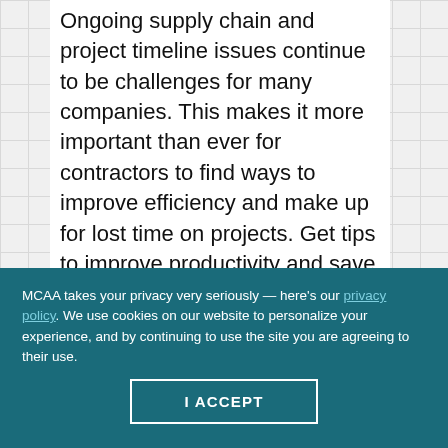Ongoing supply chain and project timeline issues continue to be challenges for many companies. This makes it more important than ever for contractors to find ways to improve efficiency and make up for lost time on projects. Get tips to improve productivity and save time on projects from Miller Electric Mfg. Co.
MCAA takes your privacy very seriously — here's our privacy policy. We use cookies on our website to personalize your experience, and by continuing to use the site you are agreeing to their use.
I ACCEPT